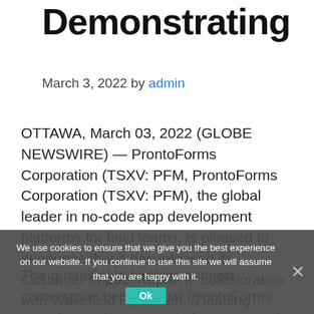Demonstrating
March 3, 2022 by admin
OTTAWA, March 03, 2022 (GLOBE NEWSWIRE) — ProntoForms Corporation (TSXV: PFM, ProntoForms Corporation (TSXV: PFM), the global leader in no-code app development platforms for field teams, is pleased to announce that it has released its Customer Impact Report in collaboration with Wakefield Research, a leading market research consultancy.
The quantifiable findings support cornerstone benefits that ProntoForms provides customers, including improved technician satisfaction, improved
We use cookies to ensure that we give you the best experience on our website. If you continue to use this site we will assume that you are happy with it.